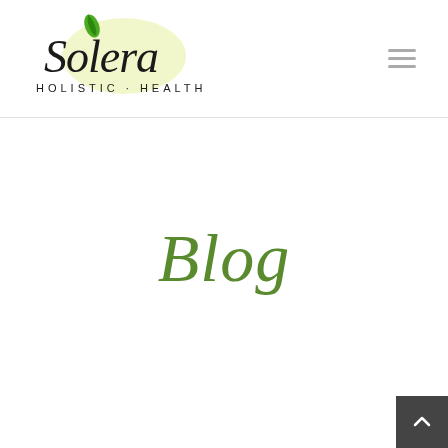[Figure (logo): Solera Holistic Health logo — stylized script 'Solera' with a green leaf accent and yellow-green glow, subtitle 'HOLISTIC · HEALTH' in spaced sans-serif capitals below]
Blog
[Figure (other): Dark grey scroll-to-top button with upward chevron arrow in bottom-right corner]